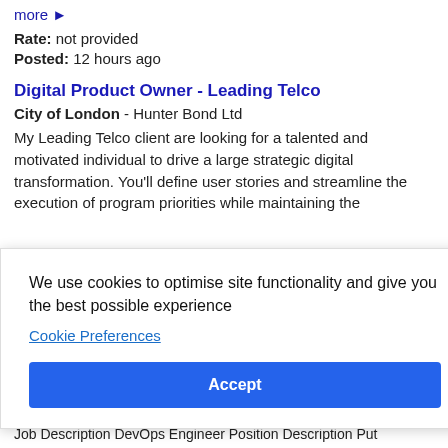more ►
Rate: not provided
Posted: 12 hours ago
Digital Product Owner - Leading Telco
City of London - Hunter Bond Ltd
My Leading Telco client are looking for a talented and motivated individual to drive a large strategic digital transformation. You'll define user stories and streamline the execution of program priorities while maintaining the
We use cookies to optimise site functionality and give you the best possible experience
Cookie Preferences
Accept
Job Description DevOps Engineer Position Description Put